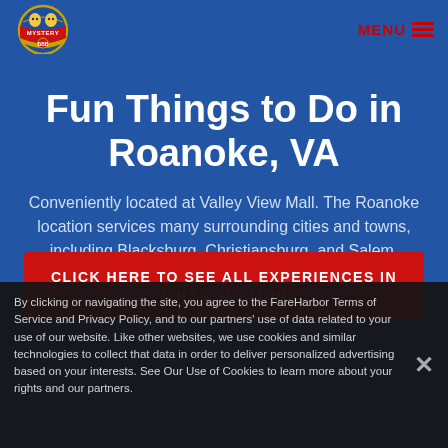[Figure (logo): Mystery BBB logo — circular badge with cartoon characters and gold/red design on blue background]
MENU ☰
Fun Things to Do in Roanoke, VA
Conveniently located at Valley View Mall. The Roanoke location services many surrounding cities and towns, including Blacksburg, Christiansburg, and Salem.
CLICK HERE TO SEE ALL EXPERIENCES IN THIS LOCATION
By clicking or navigating the site, you agree to the FareHarbor Terms of Service and Privacy Policy, and to our partners' use of data related to your use of our website. Like other websites, we use cookies and similar technologies to collect that data in order to deliver personalized advertising based on your interests. See Our Use of Cookies to learn more about your rights and our partners.